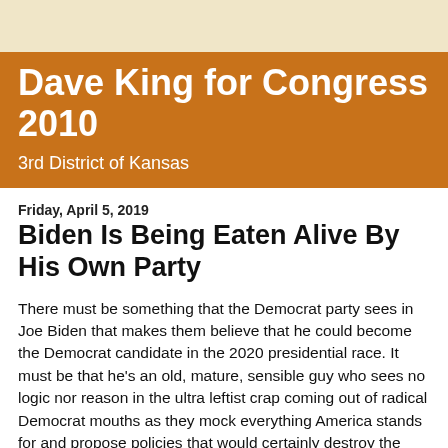Dave King for Congress 2010
3rd District of Kansas
Friday, April 5, 2019
Biden Is Being Eaten Alive By His Own Party
There must be something that the Democrat party sees in Joe Biden that makes them believe that he could become the Democrat candidate in the 2020 presidential race. It must be that he's an old, mature, sensible guy who sees no logic nor reason in the ultra leftist crap coming out of radical Democrat mouths as they mock everything America stands for and propose policies that would certainly destroy the prosperity and security of America in this increasingly dangerous world.